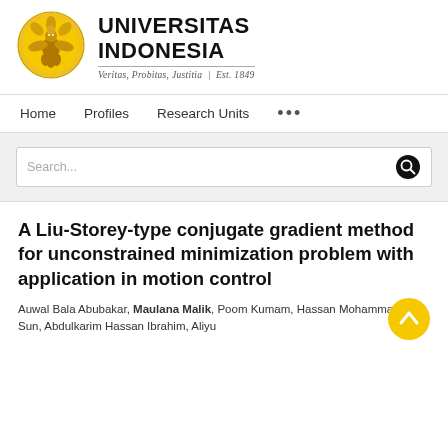[Figure (logo): Universitas Indonesia logo with golden flower/bird emblem and text 'UNIVERSITAS INDONESIA', tagline 'Veritas, Probitas, Justitia | Est. 1849']
Home   Profiles   Research Units   ...
Search...
A Liu-Storey-type conjugate gradient method for unconstrained minimization problem with application in motion control
Auwal Bala Abubakar, Maulana Malik, Poom Kumam, Hassan Mohammad, Min Sun, Abdulkarim Hassan Ibrahim, Aliyu